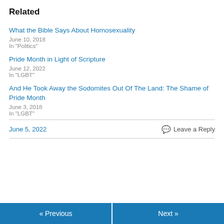Related
What the Bible Says About Homosexuality
June 10, 2018
In "Politics"
Pride Month in Light of Scripture
June 12, 2022
In "LGBT"
And He Took Away the Sodomites Out Of The Land: The Shame of Pride Month
June 3, 2018
In "LGBT"
June 5, 2022
Leave a Reply
« Previous
Next »